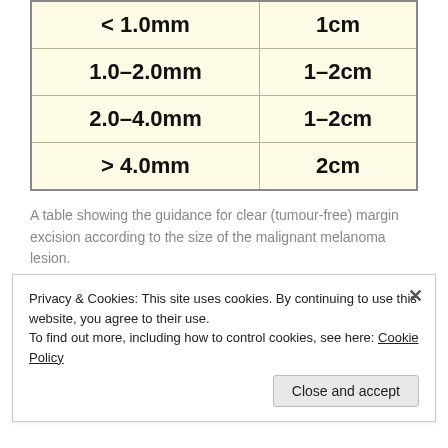| Tumour Thickness | Excision Margin |
| --- | --- |
| < 1.0mm | 1cm |
| 1.0–2.0mm | 1–2cm |
| 2.0–4.0mm | 1–2cm |
| > 4.0mm | 2cm |
A table showing the guidance for clear (tumour-free) margin excision according to the size of the malignant melanoma lesion.
We hear all the time about using creams
Privacy & Cookies: This site uses cookies. By continuing to use this website, you agree to their use.
To find out more, including how to control cookies, see here: Cookie Policy